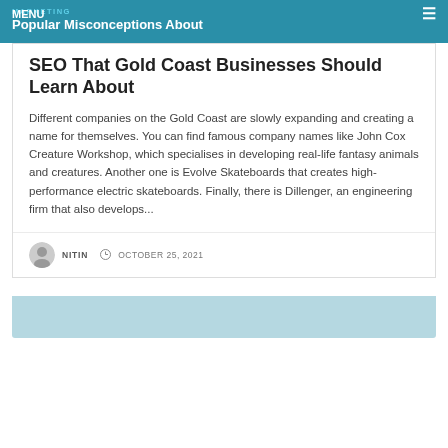MARKETING
MENU
Popular Misconceptions About SEO That Gold Coast Businesses Should Learn About
Different companies on the Gold Coast are slowly expanding and creating a name for themselves. You can find famous company names like John Cox Creature Workshop, which specialises in developing real-life fantasy animals and creatures. Another one is Evolve Skateboards that creates high-performance electric skateboards. Finally, there is Dillenger, an engineering firm that also develops...
NITIN   OCTOBER 25, 2021